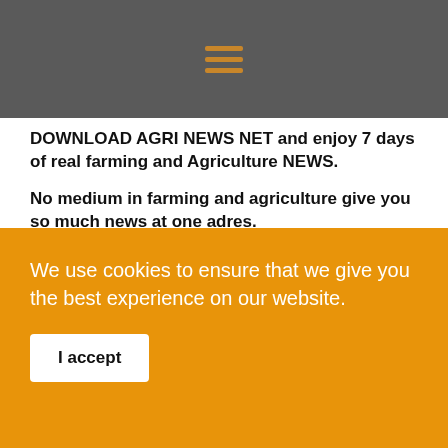[Figure (other): Dark grey navigation header bar with orange hamburger menu icon (three horizontal lines)]
DOWNLOAD AGRI NEWS NET and enjoy 7 days of real farming and Agriculture NEWS.
No medium in farming and agriculture give you so much news at one adres.
AGRI NEWS NET- in jou hand- maklik om te lees en altyd op tyd-  7dae per week- 365 van die jaar-  No news medium in farming and agriculture give you so much news at one address 7 days a week.
Agri News Net or Farming portal se so se dagliks...
We use cookies to ensure that we give you the best experience on our website.
I accept